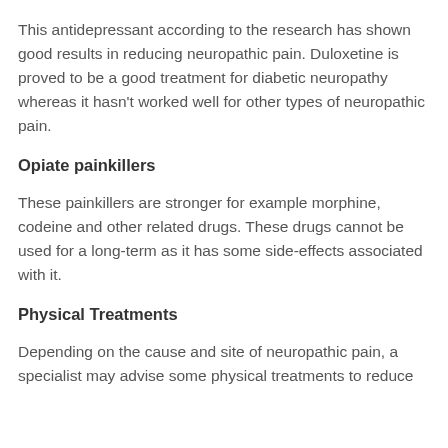This antidepressant according to the research has shown good results in reducing neuropathic pain. Duloxetine is proved to be a good treatment for diabetic neuropathy whereas it hasn't worked well for other types of neuropathic pain.
Opiate painkillers
These painkillers are stronger for example morphine, codeine and other related drugs. These drugs cannot be used for a long-term as it has some side-effects associated with it.
Physical Treatments
Depending on the cause and site of neuropathic pain, a specialist may advise some physical treatments to reduce